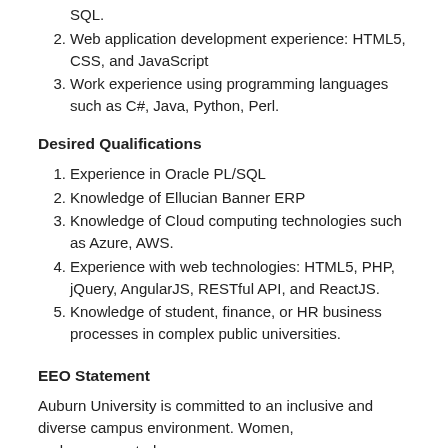SQL.
Web application development experience: HTML5, CSS, and JavaScript
Work experience using programming languages such as C#, Java, Python, Perl.
Desired Qualifications
Experience in Oracle PL/SQL
Knowledge of Ellucian Banner ERP
Knowledge of Cloud computing technologies such as Azure, AWS.
Experience with web technologies: HTML5, PHP, jQuery, AngularJS, RESTful API, and ReactJS.
Knowledge of student, finance, or HR business processes in complex public universities.
EEO Statement
Auburn University is committed to an inclusive and diverse campus environment. Women, underrepresented groups,